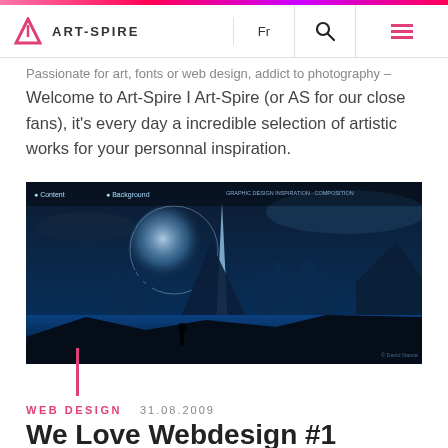ART-SPIRE
Passionate for art, fonts or web design, addict to photography – Welcome to Art-Spire I Art-Spire (or AS for our close fans), it's every day a incredible selection of artistic works for your personnal inspiration.
[Figure (screenshot): Screenshot of a dark fantasy web design showing a glowing futuristic city skyline with a large moon, mountains, and water in a blue color scheme]
WEB DESIGN    31.08.2009
We Love Webdesign #1